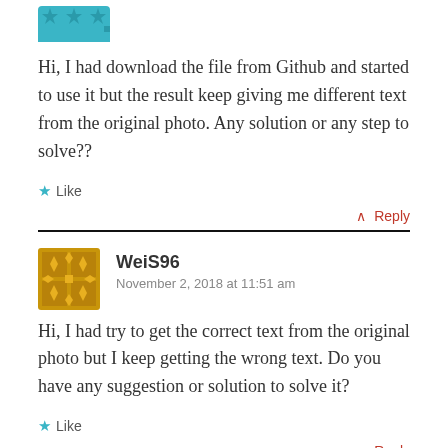[Figure (illustration): Partial view of a teal/cyan avatar icon with star-like geometric pattern, cropped at top]
Hi, I had download the file from Github and started to use it but the result keep giving me different text from the original photo. Any solution or any step to solve??
★ Like
↑ Reply
[Figure (illustration): Golden/brown avatar with geometric diamond/cross pattern for user WeiS96]
WeiS96
November 2, 2018 at 11:51 am
Hi, I had try to get the correct text from the original photo but I keep getting the wrong text. Do you have any suggestion or solution to solve it?
★ Like
↑ Reply